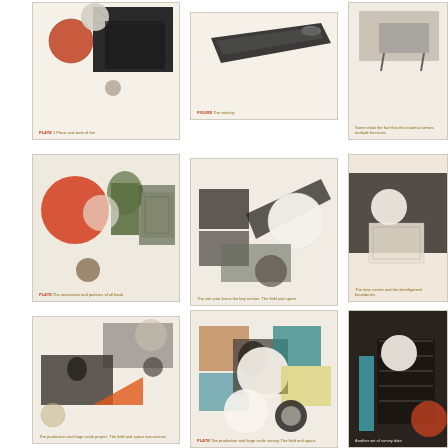[Figure (illustration): Collage artwork with architectural drawings, circular elements, and photographic imagery on cream background]
[Figure (illustration): Collage artwork with elongated diagonal lines and photographic imagery on cream background]
[Figure (illustration): Collage artwork with circular element, architectural imagery partially visible on right edge]
[Figure (illustration): Collage artwork with orange circle, green foliage, architectural drawings on cream background]
[Figure (illustration): Collage artwork with white circle, diagonal shapes, landscape imagery on cream background]
[Figure (illustration): Collage artwork with white circle, castle/fortress imagery, architectural plan on peach background]
[Figure (illustration): Collage artwork with portrait photo, architectural images, orange triangle on cream background]
[Figure (illustration): Collage artwork with colorful geometric shapes, white circles, figure imagery on cream background]
[Figure (illustration): Collage artwork with white circle, dark architectural imagery, orange sphere on right edge]